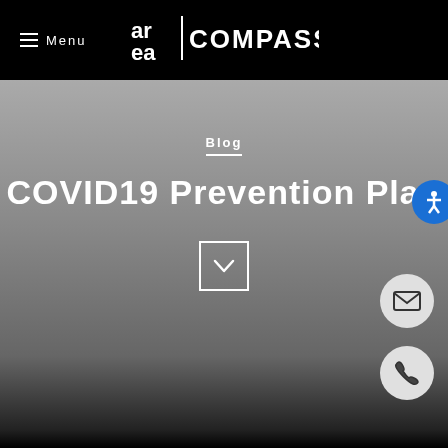[Figure (logo): Area Compass logo — 'area' stylized in white circular letterforms with a vertical divider and 'COMPASS' text, on black background header bar]
Blog
COVID19 Prevention Plan
[Figure (other): Down chevron button (square outline with downward chevron arrow in white), email contact button (circular grey with envelope icon), phone contact button (circular grey with phone icon), accessibility button (circular blue with person icon)]